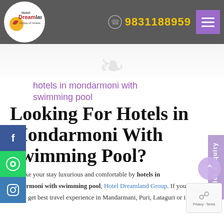[Figure (logo): Hotel Dreamland Group of Hotels logo in circular white badge on grey header bar]
9831188959
hotels in mondarmoni with swimming pool
Looking For Hotels in Mondarmoni With Swimming Pool?
We make your stay luxurious and comfortable by hotels in mondarmoni with swimming pool, Hotel Dreamland Group. If you want to get best travel experience in Mandarmani, Puri, Lataguri or in